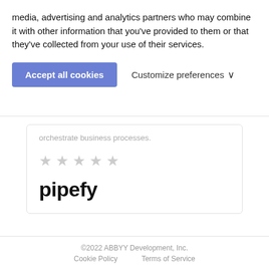media, advertising and analytics partners who may combine it with other information that you've provided to them or that they've collected from your use of their services.
Accept all cookies   Customize preferences
orchestrate business processes.
[Figure (other): Five grey star rating icons]
[Figure (logo): pipefy logo in bold black text]
©2022 ABBYY Development, Inc.
Cookie Policy   Terms of Service